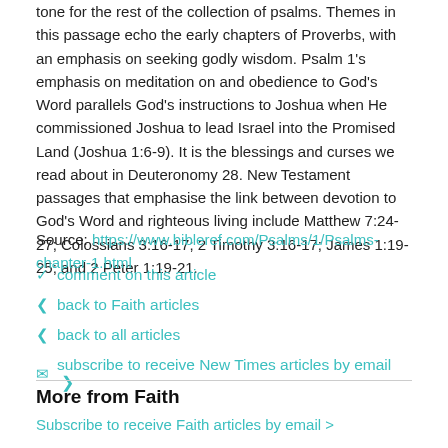tone for the rest of the collection of psalms. Themes in this passage echo the early chapters of Proverbs, with an emphasis on seeking godly wisdom. Psalm 1's emphasis on meditation on and obedience to God's Word parallels God's instructions to Joshua when He commissioned Joshua to lead Israel into the Promised Land (Joshua 1:6-9). It is the blessings and curses we read about in Deuteronomy 28. New Testament passages that emphasise the link between devotion to God's Word and righteous living include Matthew 7:24-27; Colossians 3:16-17; 2 Timothy 3:16-17; James 1:19-25; and 2 Peter 1:19-21.
Source: https://www.bibleref.com/Psalms/1/Psalms-chapter-1.html
comment on this article
back to Faith articles
back to all articles
subscribe to receive New Times articles by email
More from Faith
Subscribe to receive Faith articles by email >